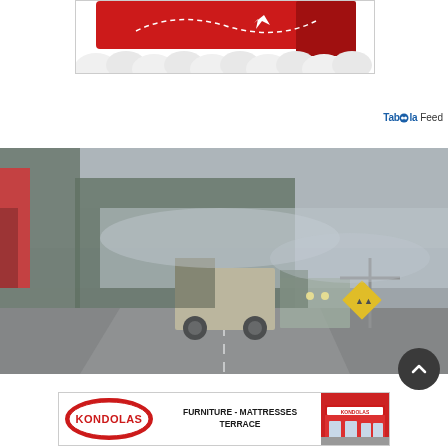[Figure (illustration): Partial view of a red illustrated object (appears to be a vehicle or sleigh) with white cloud/snow elements at the bottom, on a white background — top portion cropped]
Taboola Feed
[Figure (photo): A foggy highway scene with trucks and tanker vehicles stopped or moving slowly on a road surrounded by coniferous forest. Visibility is very low due to smoke or heavy fog. A road sign is visible on the right side.]
[Figure (logo): Kondolas advertisement banner: Kondolas logo on left, text 'FURNITURE - MATTRESSES TERRACE' in center, photo of Kondolas store building on right]